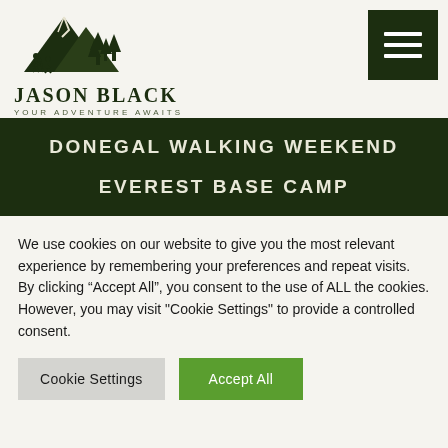[Figure (logo): Jason Black adventure logo with mountains, trees and hikers silhouette. Text reads JASON BLACK / YOUR ADVENTURE AWAITS]
DONEGAL WALKING WEEKEND

EVEREST BASE CAMP
We use cookies on our website to give you the most relevant experience by remembering your preferences and repeat visits. By clicking “Accept All”, you consent to the use of ALL the cookies. However, you may visit "Cookie Settings" to provide a controlled consent.
Cookie Settings | Accept All